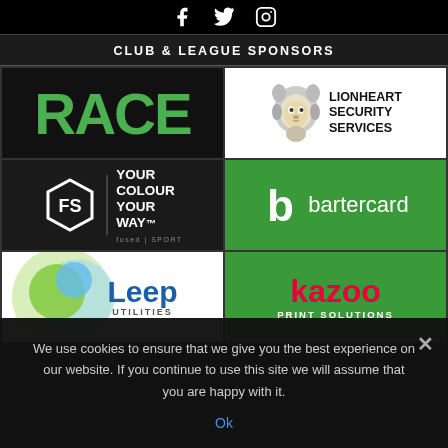Social media icons (Facebook, Twitter, Instagram)
CLUB & LEAGUE SPONSORS
[Figure (logo): RACE logo in green on dark background]
[Figure (logo): Lionheart Security Services logo with lion illustration]
[Figure (logo): Fused Sport - Your Colour Your Way logo]
[Figure (logo): Bartercard logo in green]
[Figure (logo): Leep Utilities logo]
[Figure (logo): Kazoo Print Solutions logo in green]
We use cookies to ensure that we give you the best experience on our website. If you continue to use this site we will assume that you are happy with it.
Ok